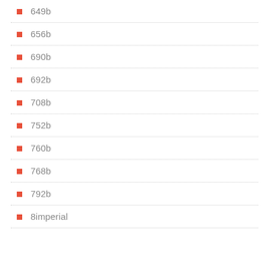649b
656b
690b
692b
708b
752b
760b
768b
792b
8imperial